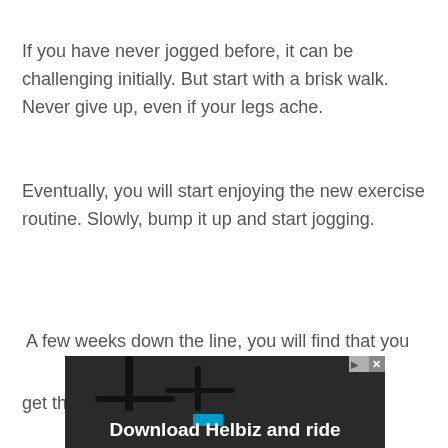If you have never jogged before, it can be challenging initially. But start with a brisk walk. Never give up, even if your legs ache.
Eventually, you will start enjoying the new exercise routine. Slowly, bump it up and start jogging.
A few weeks down the line, you will find that you get that perfect shape you always wanted.
[Figure (photo): Advertisement banner for Helbiz scooter app showing a scooter handlebar in the background with text 'Download Helbiz and ride' in white bold font on a dark overlay. Has close/X button in top right corner.]